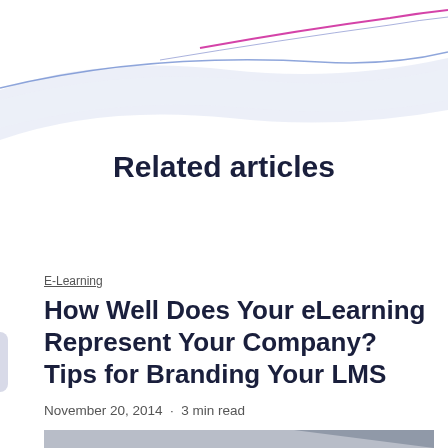[Figure (illustration): Decorative header graphic with a light blue/lavender curved band and a magenta/pink curve at the top right on a white background]
Related articles
E-Learning
How Well Does Your eLearning Represent Your Company? Tips for Branding Your LMS
November 20, 2014 · 3 min read
[Figure (photo): Bottom edge of a thumbnail image showing a grey gradient background with a darker grey triangular shape in the lower right]